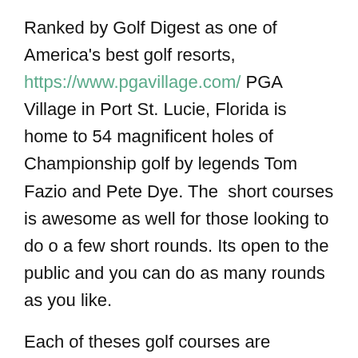Ranked by Golf Digest as one of America's best golf resorts, https://www.pgavillage.com/ PGA Village in Port St. Lucie, Florida is home to 54 magnificent holes of Championship golf by legends Tom Fazio and Pete Dye. The  short courses is awesome as well for those looking to do o a few short rounds. Its open to the public and you can do as many rounds as you like.
Each of theses golf courses are surrounded by or near residences ranging from single family, to condominiums and townhomes. Theres something for everyone depending on your needs. To view property on the Treasure Coast, contact me today, we will surely find property that will work for you and your